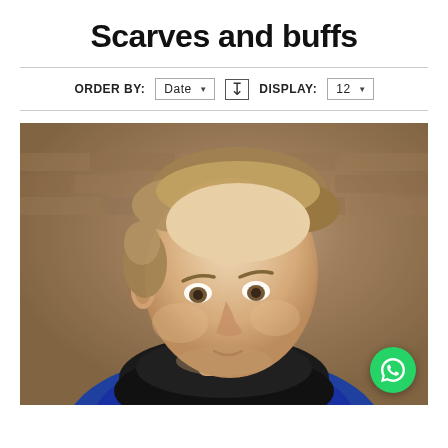Scarves and buffs
ORDER BY: Date ▼ ↓ DISPLAY: 12 ▼
[Figure (photo): A young man wearing a chunky black knit buff/scarf around his neck, looking slightly to the side, with a blurred brick wall background. A green WhatsApp button is overlaid in the bottom right corner.]